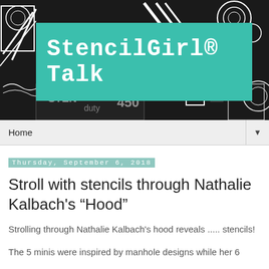[Figure (illustration): StencilGirl Talk blog header banner with black and white stencil pattern background and teal rectangle containing the text 'StencilGirl® Talk' in bold monospace white font]
Home ▼
Thursday, September 6, 2018
Stroll with stencils through Nathalie Kalbach's "Hood"
Strolling through Nathalie Kalbach's hood reveals ..... stencils!
The 5 minis were inspired by manhole designs while her 6